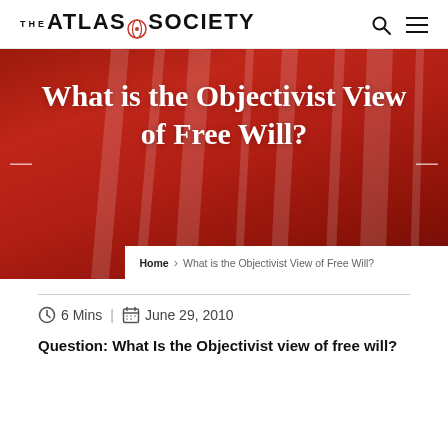THE ATLAS SOCIETY
What is the Objectivist View of Free Will?
Home > What is the Objectivist View of Free Will?
6 Mins | June 29, 2010
Question: What Is the Objectivist view of free will?